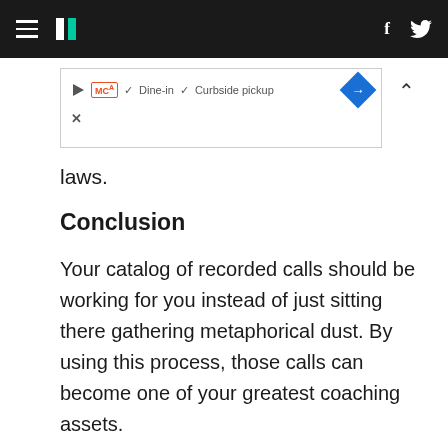HuffPost — [hamburger menu] [logo] [f] [Twitter bird]
[Figure (screenshot): Advertisement banner showing play button, MCA badge, checkmarks for Dine-in and Curbside pickup, blue diamond arrow icon, and close X button with chevron]
laws.
Conclusion
Your catalog of recorded calls should be working for you instead of just sitting there gathering metaphorical dust. By using this process, those calls can become one of your greatest coaching assets.
For more on how to get the most out of your recorded calls check out the free Call Camp from